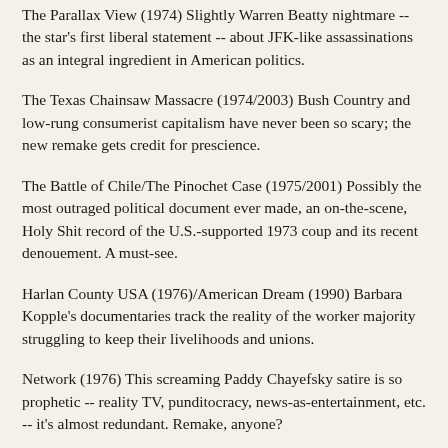The Parallax View (1974) Slightly Warren Beatty nightmare -- the star's first liberal statement -- about JFK-like assassinations as an integral ingredient in American politics.
The Texas Chainsaw Massacre (1974/2003) Bush Country and low-rung consumerist capitalism have never been so scary; the new remake gets credit for prescience.
The Battle of Chile/The Pinochet Case (1975/2001) Possibly the most outraged political document ever made, an on-the-scene, Holy Shit record of the U.S.-supported 1973 coup and its recent denouement. A must-see.
Harlan County USA (1976)/American Dream (1990) Barbara Kopple's documentaries track the reality of the worker majority struggling to keep their livelihoods and unions.
Network (1976) This screaming Paddy Chayefsky satire is so prophetic -- reality TV, punditocracy, news-as-entertainment, etc. -- it's almost redundant. Remake, anyone?
All the President's Men (1976) Still a sobering view, ratfucking and all, of standard White House bullshit.